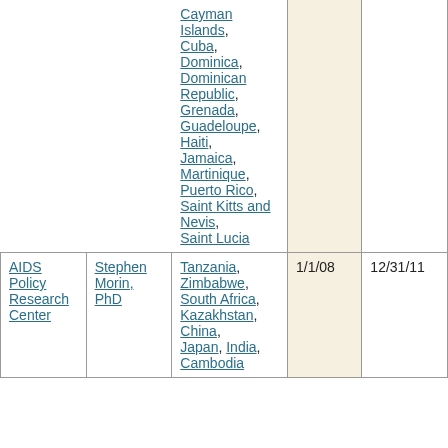|  |  | Cayman Islands, Cuba, Dominica, Dominican Republic, Grenada, Guadeloupe, Haiti, Jamaica, Martinique, Puerto Rico, Saint Kitts and Nevis, Saint Lucia |  |  |
| AIDS Policy Research Center | Stephen Morin, PhD | Tanzania, Zimbabwe, South Africa, Kazakhstan, China, Japan, India, Cambodia... | 1/1/08 | 12/31/11 |